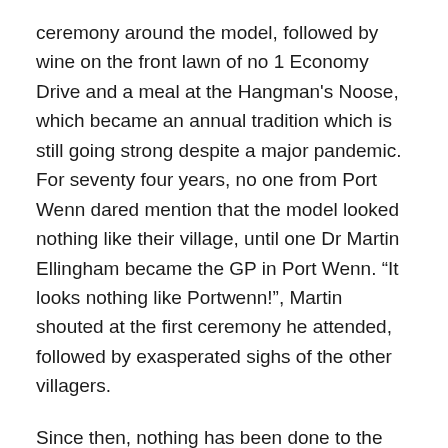ceremony around the model, followed by wine on the front lawn of no 1 Economy Drive and a meal at the Hangman's Noose, which became an annual tradition which is still going strong despite a major pandemic. For seventy four years, no one from Port Wenn dared mention that the model looked nothing like their village, until one Dr Martin Ellingham became the GP in Port Wenn. “It looks nothing like Portwenn!”, Martin shouted at the first ceremony he attended, followed by exasperated sighs of the other villagers.
Since then, nothing has been done to the village to make it look authentic, much to Martin’s annoyance.
Share this:
Twitter  Facebook